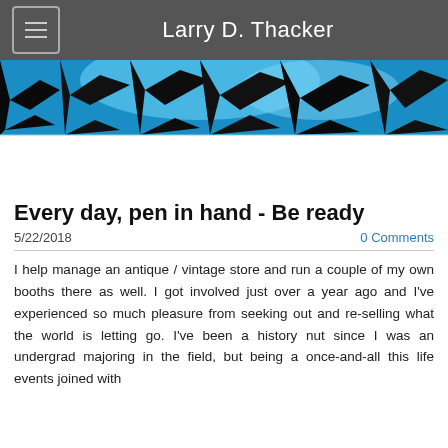Larry D. Thacker
[Figure (photo): Banner image showing blue-toned silhouette of tree branches against a bright blue sky, with a white/blank lower portion]
Every day, pen in hand - Be ready
5/22/2018
0 Comments
I help manage an antique / vintage store and run a couple of my own booths there as well. I got involved just over a year ago and I've experienced so much pleasure from seeking out and re-selling what the world is letting go. I've been a history nut since I was an undergrad majoring in the field, but being a once-and-all this life events joined with